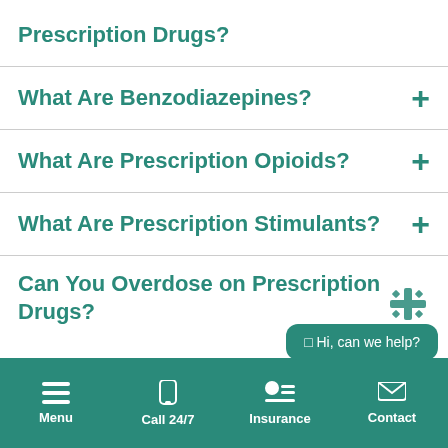Prescription Drugs?
What Are Benzodiazepines?
What Are Prescription Opioids?
What Are Prescription Stimulants?
Can You Overdose on Prescription Drugs?
[Figure (screenshot): Chat widget overlay with teal rounded rectangle bubble saying 'Hi, can we help?' and a decorative snowflake/cross icon above it]
Menu  Call 24/7  Insurance  Contact